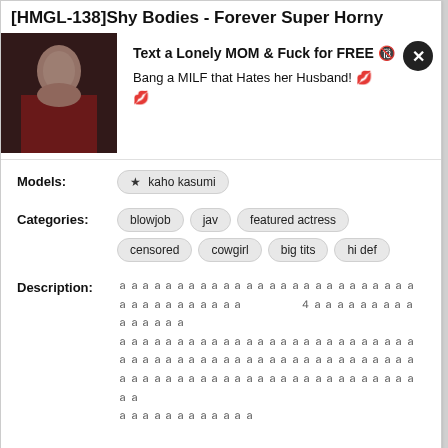[HMGL-138]Shy Bodies - Forever Super Horny
[Figure (photo): Advertisement with photo of a woman in red dress and promotional text for adult dating site]
Text a Lonely MOM & Fuck for FREE 🔞
Bang a MILF that Hates her Husband! 💋
💋
Models: ★ kaho kasumi
Categories: blowjob   jav   featured actress   censored   cowgirl   big tits   hi def
Description: [Japanese text description]